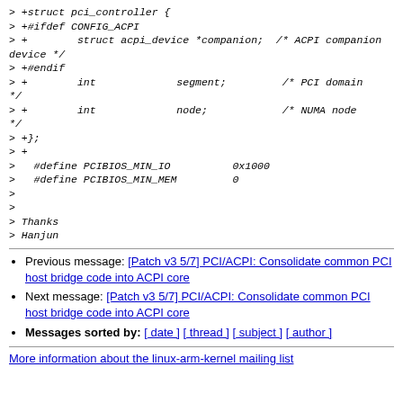> +struct pci_controller {
> +#ifdef CONFIG_ACPI
> +        struct acpi_device *companion;  /* ACPI companion device */
> +#endif
> +        int                     segment;                /* PCI domain */
> +        int                     node;                   /* NUMA node */
> +};
> +
>   #define PCIBIOS_MIN_IO          0x1000
>   #define PCIBIOS_MIN_MEM         0
>
>
> Thanks
> Hanjun
Previous message: [Patch v3 5/7] PCI/ACPI: Consolidate common PCI host bridge code into ACPI core
Next message: [Patch v3 5/7] PCI/ACPI: Consolidate common PCI host bridge code into ACPI core
Messages sorted by: [ date ] [ thread ] [ subject ] [ author ]
More information about the linux-arm-kernel mailing list